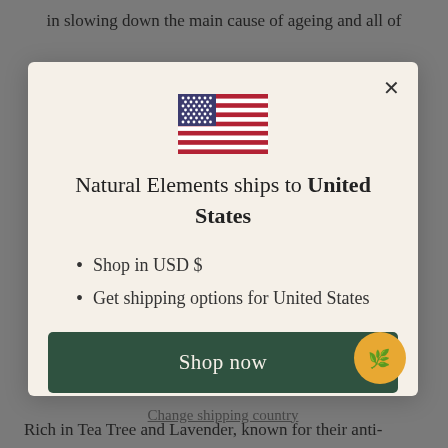in slowing down the main cause of ageing and all of
[Figure (illustration): US flag icon]
Natural Elements ships to United States
Shop in USD $
Get shipping options for United States
Shop now
Change shipping country
Rich in Tea Tree and Lavender, known for their anti-